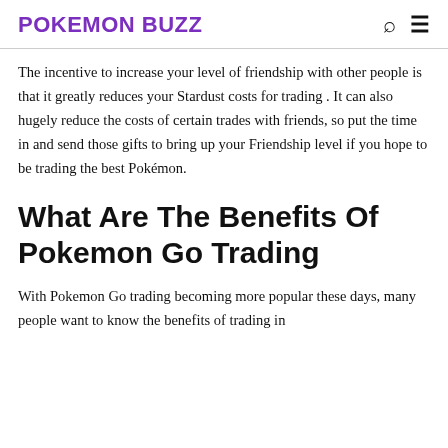POKEMON BUZZ
The incentive to increase your level of friendship with other people is that it greatly reduces your Stardust costs for trading . It can also hugely reduce the costs of certain trades with friends, so put the time in and send those gifts to bring up your Friendship level if you hope to be trading the best Pokémon.
What Are The Benefits Of Pokemon Go Trading
With Pokemon Go trading becoming more popular these days, many people want to know the benefits of trading in